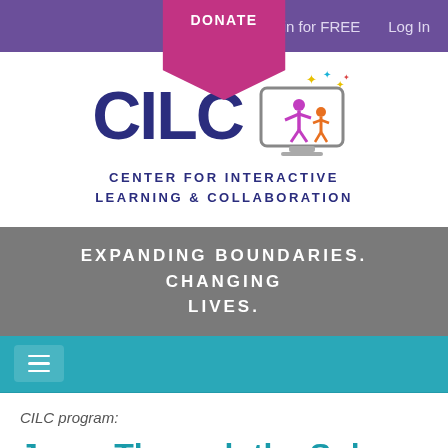DONATE | Join for FREE | Log In
[Figure (logo): CILC - Center for Interactive Learning & Collaboration logo with colorful figures and stars inside a monitor graphic]
EXPANDING BOUNDARIES. CHANGING LIVES.
[Figure (other): Teal navigation bar with hamburger menu icon]
CILC program:
Jump Through the Solar System
by Space Center Houston